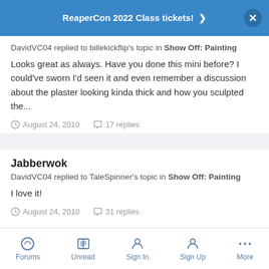ReaperCon 2022 Class tickets!
DavidVC04 replied to billekickflip's topic in Show Off: Painting
Looks great as always. Have you done this mini before? I could've sworn I'd seen it and even remember a discussion about the plaster looking kinda thick and how you sculpted the...
August 24, 2010  17 replies
Jabberwok
DavidVC04 replied to TaleSpinner's topic in Show Off: Painting
I love it!
August 24, 2010  31 replies
Forums  Unread  Sign In  Sign Up  More